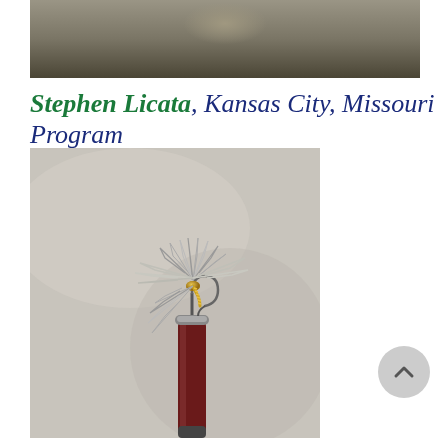[Figure (photo): Partial top photo showing a dark background with what appears to be the bottom of a bottle or object, cropped at top of page]
Stephen Licata, Kansas City, Missouri Program
[Figure (photo): Close-up photograph of a hand-tied fishing fly (dry fly) with feathery hackle and a curved hook held by a bobbin. The fly has grey/white hackle feathers and gold body on a grey/beige background.]